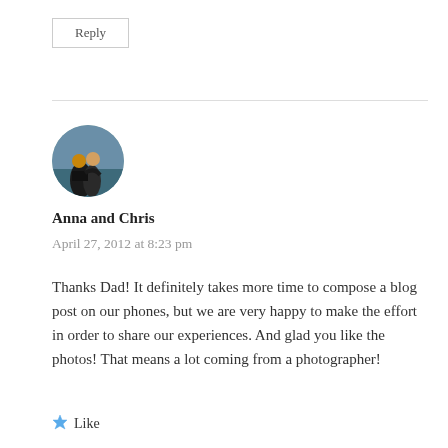Reply
[Figure (photo): Circular avatar photo of Anna and Chris, a couple hugging outdoors at sunset]
Anna and Chris
April 27, 2012 at 8:23 pm
Thanks Dad! It definitely takes more time to compose a blog post on our phones, but we are very happy to make the effort in order to share our experiences. And glad you like the photos! That means a lot coming from a photographer!
Like